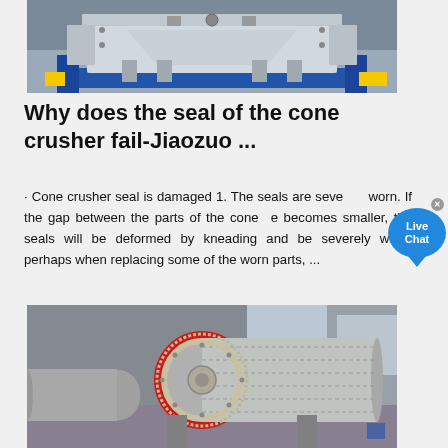[Figure (photo): Industrial cone crusher machine in a factory, white/blue metallic structure on blue supports, yellow platforms visible]
Why does the seal of the cone crusher fail-Jiaozuo ...
· Cone crusher seal is damaged 1. The seals are severely worn. If the gap between the parts of the cone becomes smaller, the seals will be deformed by kneading and be severely worn; perhaps when replacing some of the worn parts, ...
[Figure (photo): Large industrial ball mill with red and grey drum, large gear ring visible, in a factory setting]